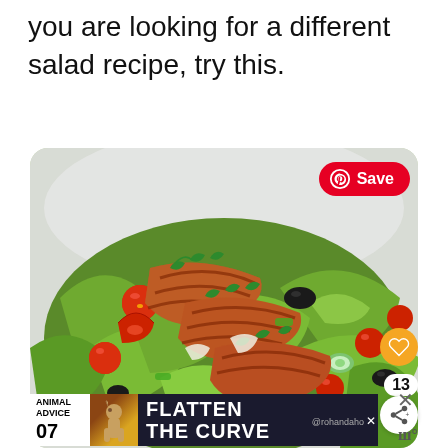you are looking for a different salad recipe, try this.
[Figure (photo): A plate of salad with grilled seasoned fish/salmon pieces on top, cherry tomatoes, black olives, cucumber, and green lettuce leaves. A Pinterest 'Save' button is overlaid in the top right. Heart and share icons appear on the right side.]
[Figure (screenshot): Ad banner at the bottom showing 'ANIMAL ADVICE 07' with decorative animal graphic and text 'FLATTEN THE CURVE' in large white letters on dark background. A username @rohandaho and close X button visible.]